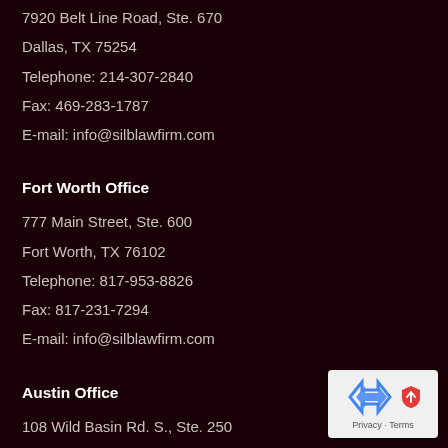7920 Belt Line Road, Ste. 670
Dallas, TX 75254
Telephone: 214-307-2840
Fax: 469-283-1787
E-mail: info@silblawfirm.com
Fort Worth Office
777 Main Street, Ste. 600
Fort Worth, TX 76102
Telephone: 817-953-8826
Fax: 817-231-7294
E-mail: info@silblawfirm.com
Austin Office
108 Wild Basin Rd. S., Ste. 250
Austin, TX 78746
Telephone: 512-501-4148
Fax: 512-318-2462
E-mail: info@silblawfirm.com